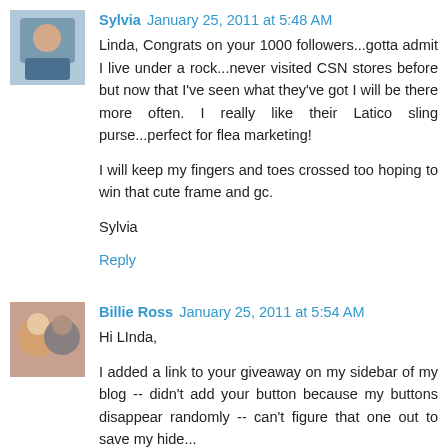Sylvia January 25, 2011 at 5:48 AM
Linda, Congrats on your 1000 followers...gotta admit I live under a rock...never visited CSN stores before but now that I've seen what they've got I will be there more often. I really like their Latico sling purse...perfect for flea marketing!
I will keep my fingers and toes crossed too hoping to win that cute frame and gc.
Sylvia
Reply
Billie Ross January 25, 2011 at 5:54 AM
Hi LInda,
I added a link to your giveaway on my sidebar of my blog -- didn't add your button because my buttons disappear randomly -- can't figure that one out to save my hide...
Also became a follower and posted a link to your site... Yay!